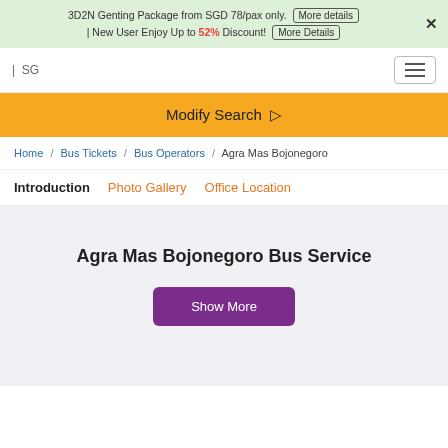3D2N Genting Package from SGD 78/pax only. More details | New User Enjoy Up to 52% Discount! More Details ×
| SG
Modify Search
Home / Bus Tickets / Bus Operators / Agra Mas Bojonegoro
Introduction  Photo Gallery  Office Location
Agra Mas Bojonegoro Bus Service
Show More